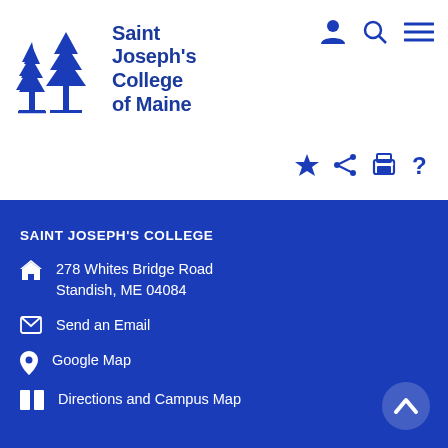[Figure (logo): Saint Joseph's College of Maine logo with two pine trees and text]
Saint Joseph's College of Maine
SAINT JOSEPH'S COLLEGE
278 Whites Bridge Road, Standish, ME 04084
Send an Email
Google Map
Directions and Campus Map